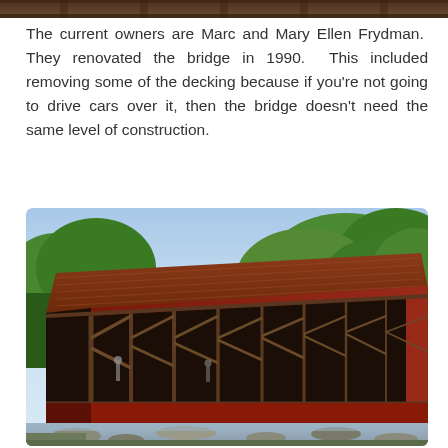[Figure (photo): Top portion of a covered bridge photo, cropped at the top of the page showing the upper part of a wooden covered bridge structure.]
The current owners are Marc and Mary Ellen Frydman.  They renovated the bridge in 1990.  This included removing some of the decking because if you’re not going to drive cars over it, then the bridge doesn’t need the same level of construction.
[Figure (photo): A red-painted covered wooden bridge with an open lattice truss side structure and a rusted metal roof, surrounded by green trees under a blue sky, with rocks and a stream visible below.]